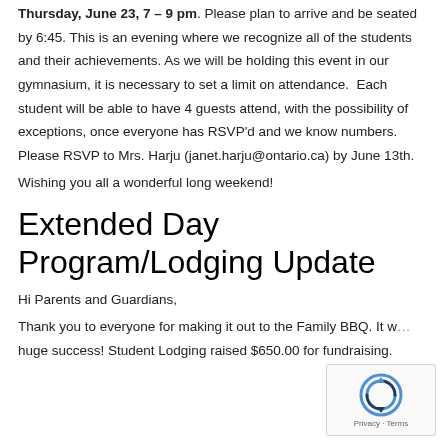Thursday, June 23, 7 – 9 pm. Please plan to arrive and be seated by 6:45. This is an evening where we recognize all of the students and their achievements. As we will be holding this event in our gymnasium, it is necessary to set a limit on attendance.  Each student will be able to have 4 guests attend, with the possibility of exceptions, once everyone has RSVP'd and we know numbers.  Please RSVP to Mrs. Harju (janet.harju@ontario.ca) by June 13th.
Wishing you all a wonderful long weekend!
Extended Day Program/Lodging Update
Hi Parents and Guardians,
Thank you to everyone for making it out to the Family BBQ. It w… huge success! Student Lodging raised $650.00 for fundraising.